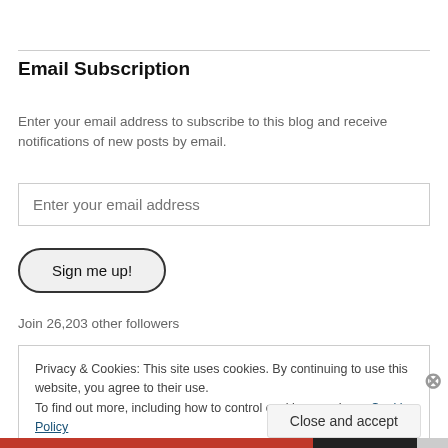Email Subscription
Enter your email address to subscribe to this blog and receive notifications of new posts by email.
Enter your email address
Sign me up!
Join 26,203 other followers
Privacy & Cookies: This site uses cookies. By continuing to use this website, you agree to their use.
To find out more, including how to control cookies, see here: Cookie Policy
Close and accept